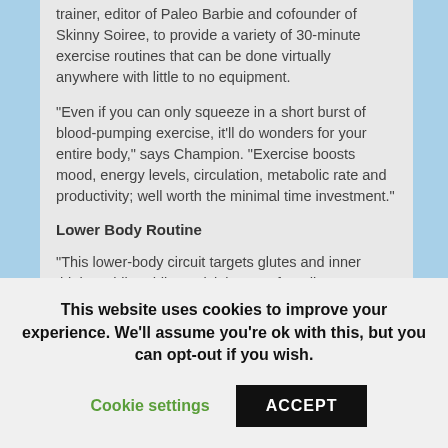trainer, editor of Paleo Barbie and cofounder of Skinny Soiree, to provide a variety of 30-minute exercise routines that can be done virtually anywhere with little to no equipment.
“Even if you can only squeeze in a short burst of blood-pumping exercise, it’ll do wonders for your entire body,” says Champion. “Exercise boosts mood, energy levels, circulation, metabolic rate and productivity; well worth the minimal time investment.”
Lower Body Routine
“This lower-body circuit targets glutes and inner thighs, while adding quick bursts of cardio to maximize calorie and fat burning,” says Champion.
To warm up:
This website uses cookies to improve your experience. We’ll assume you’re ok with this, but you can opt-out if you wish.
Cookie settings
ACCEPT